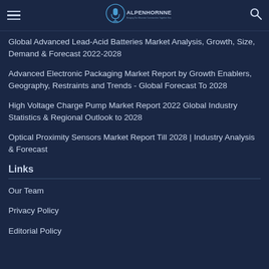AlpenhornNews - Bringing Our Mountain Communities Together Since 1985
Global Advanced Lead-Acid Batteries Market Analysis, Growth, Size, Demand & Forecast 2022-2028
Advanced Electronic Packaging Market Report by Growth Enablers, Geography, Restraints and Trends - Global Forecast To 2028
High Voltage Charge Pump Market Report 2022 Global Industry Statistics & Regional Outlook to 2028
Optical Proximity Sensors Market Report Till 2028 | Industry Analysis & Forecast
Links
Our Team
Privacy Policy
Editorial Policy